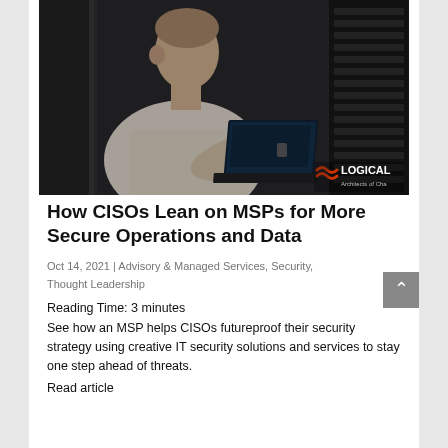[Figure (photo): Man in white t-shirt working on a laptop mounted in a server rack in a data center. Logical logo visible in bottom right with text 'Architects of Cha...']
How CISOs Lean on MSPs for More Secure Operations and Data
Oct 14, 2021 | Advisory & Managed Services, Security, Thought Leadership
Reading Time: 3 minutes
See how an MSP helps CISOs futureproof their security strategy using creative IT security solutions and services to stay one step ahead of threats.
Read article